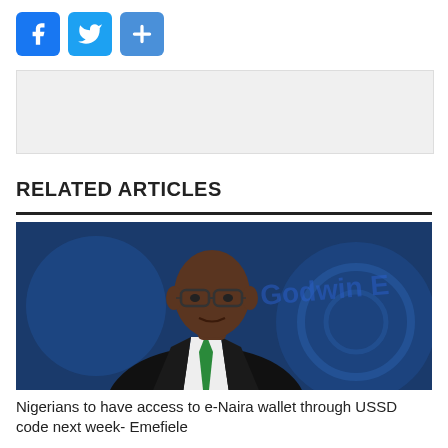[Figure (other): Social sharing buttons: Facebook (blue), Twitter (blue bird), Share/More (blue plus)]
[Figure (other): Advertisement placeholder box (light grey background)]
RELATED ARTICLES
[Figure (photo): Photo of Godwin Emefiele, a Black man in a dark suit with green tie, wearing glasses, with blue background showing text 'Godwin E']
Nigerians to have access to e-Naira wallet through USSD code next week- Emefiele